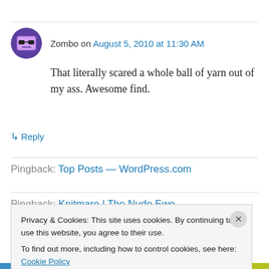Zombo on August 5, 2010 at 11:30 AM
That literally scared a whole ball of yarn out of my ass. Awesome find.
↳ Reply
Pingback: Top Posts — WordPress.com
Pingback: Knitmare | The Nude Ewe
Privacy & Cookies: This site uses cookies. By continuing to use this website, you agree to their use.
To find out more, including how to control cookies, see here: Cookie Policy